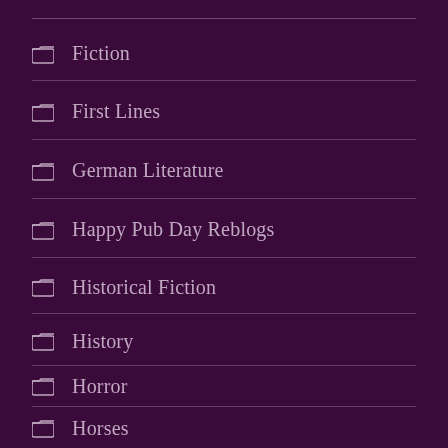Fiction
First Lines
German Literature
Happy Pub Day Reblogs
Historical Fiction
History
Horror
Horses
International Literature